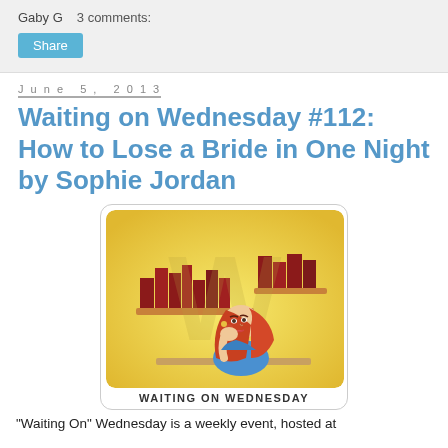Gaby G   3 comments:
Share
June 5, 2013
Waiting on Wednesday #112: How to Lose a Bride in One Night by Sophie Jordan
[Figure (illustration): Waiting On Wednesday blog meme logo: cartoon woman with red hair resting chin on hand, leaning on a desk with books, bookshelves in background, yellow rounded square frame, caption WAITING ON WEDNESDAY]
"Waiting On" Wednesday is a weekly event, hosted at